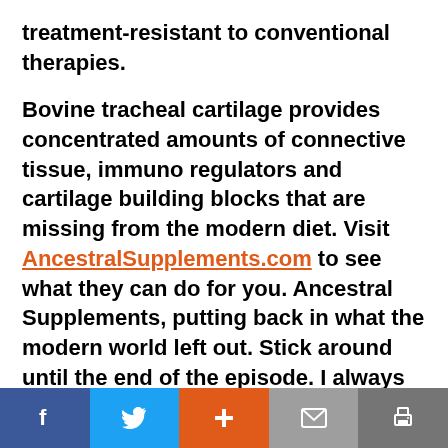treatment-resistant to conventional therapies.

Bovine tracheal cartilage provides concentrated amounts of connective tissue, immuno regulators and cartilage building blocks that are missing from the modern diet. Visit AncestralSupplements.com to see what they can do for you. Ancestral Supplements, putting back in what the modern world left out. Stick around until the end of the episode. I always read a letter from our journal or a review from Apple Podcasts. It's super encouraging to
Share buttons: Facebook, Twitter, Plus, Email, Print